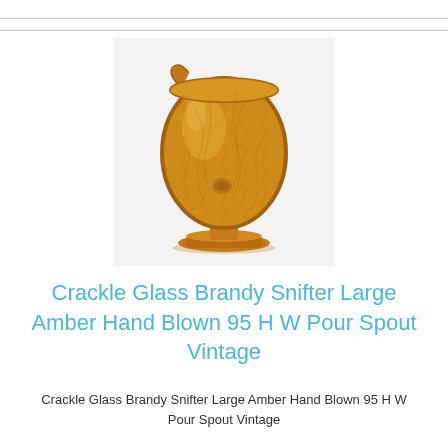[Figure (photo): An amber crackle glass brandy snifter with a pour spout, hand blown, vintage, shown on a white background.]
Crackle Glass Brandy Snifter Large Amber Hand Blown 95 H W Pour Spout Vintage
Crackle Glass Brandy Snifter Large Amber Hand Blown 95 H W Pour Spout Vintage